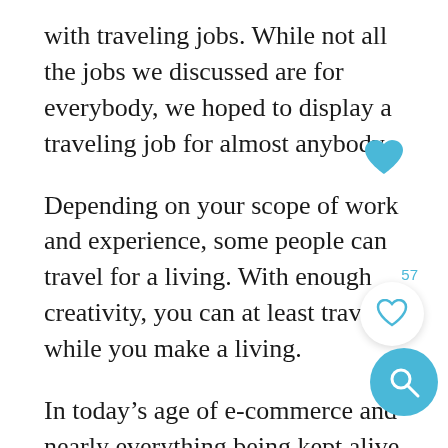with traveling jobs. While not all the jobs we discussed are for everybody, we hoped to display a traveling job for almost anybody.
Depending on your scope of work and experience, some people can travel for a living. With enough creativity, you can at least travel while you make a living.
In today’s age of e-commerce and nearly everything being kept alive electronically, work can be taken with you anywhere. As a result, more business and relations are being done between foreign countries leading to more international trade.